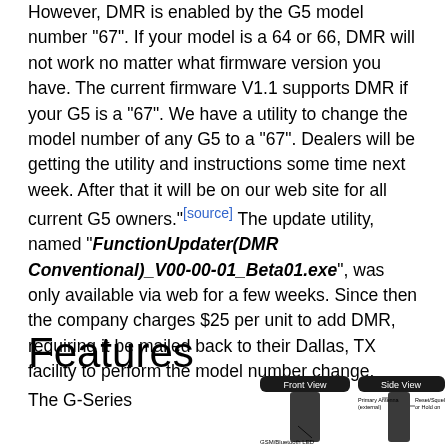However, DMR is enabled by the G5 model number "67". If your model is a 64 or 66, DMR will not work no matter what firmware version you have. The current firmware V1.1 supports DMR if your G5 is a "67". We have a utility to change the model number of any G5 to a "67". Dealers will be getting the utility and instructions some time next week. After that it will be on our web site for all current G5 owners."[source] The update utility, named "FunctionUpdater(DMR Conventional)_V00-00-01_Beta01.exe", was only available via web for a few weeks. Since then the company charges $25 per unit to add DMR, requiring it be mailed back to their Dallas, TX facility to perform the model number change.
Features
The G-Series
[Figure (illustration): Front View and Side View diagrams of the G-Series device, showing labels for GSM/Bluetooth LED, Primary Antenna (external), and Reset/Squelch or Hold on buttons.]